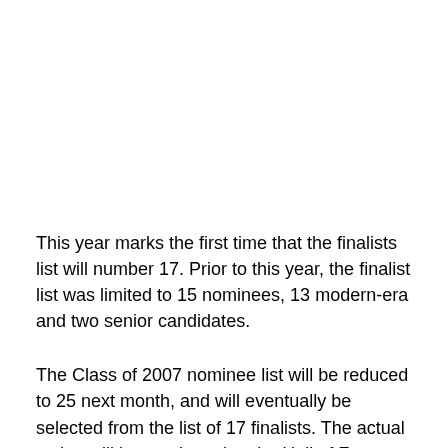This year marks the first time that the finalists list will number 17. Prior to this year, the finalist list was limited to 15 nominees, 13 modern-era and two senior candidates.
The Class of 2007 nominee list will be reduced to 25 next month, and will eventually be selected from the list of 17 finalists. The actual voting will be conducted at the Hall of Fame Selection Committee's annual